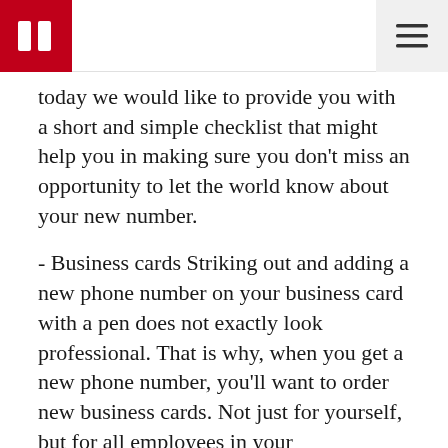today we would like to provide you with a short and simple checklist that might help you in making sure you don't miss an opportunity to let the world know about your new number.
- Business cards Striking out and adding a new phone number on your business card with a pen does not exactly look professional. That is why, when you get a new phone number, you'll want to order new business cards. Not just for yourself, but for all employees in your organisation. Billboards It is difficult to ignore a billboard, but make sure your phone number is printed large enough to be seen from a distance. If need be, request your marketing agency to make the necessary adjustments. Having a memorable vanity number makes it